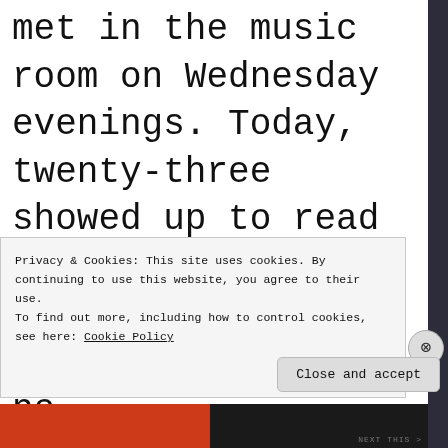met in the music room on Wednesday evenings. Today, twenty-three showed up to read their favorite sonnet. Marcus was aghast. There was no
Privacy & Cookies: This site uses cookies. By continuing to use this website, you agree to their use.
To find out more, including how to control cookies, see here: Cookie Policy
Close and accept